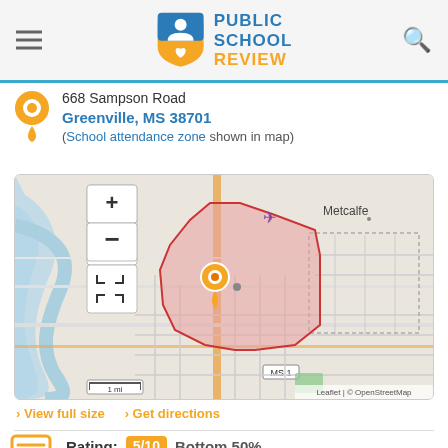Public School Review — EST. 2003
668 Sampson Road
Greenville, MS 38701
(School attendance zone shown in map)
[Figure (map): Interactive map showing school attendance zone for a school at 668 Sampson Road, Greenville MS 38701. The map shows a highlighted pink region representing the attendance zone, with an orange location pin marker. Map controls include zoom in (+), zoom out (-), and fullscreen buttons. Scale shows 1 mi. Attribution: Leaflet | © OpenStreetMap. Area label 'Metcalfe' visible in upper right.]
> View full size  > Get directions
Rating: 5/10 Bottom 50%